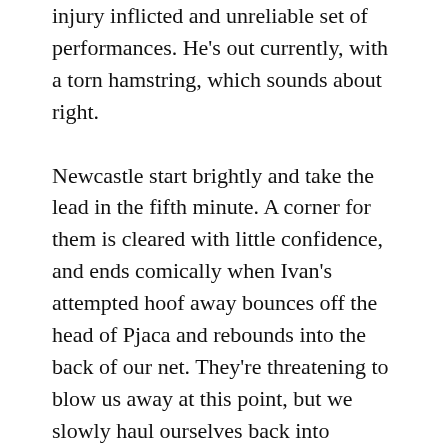injury inflicted and unreliable set of performances. He's out currently, with a torn hamstring, which sounds about right.
Newcastle start brightly and take the lead in the fifth minute. A corner for them is cleared with little confidence, and ends comically when Ivan's attempted hoof away bounces off the head of Pjaca and rebounds into the back of our net. They're threatening to blow us away at this point, but we slowly haul ourselves back into contention. By the end of the half it's 1-1. A rare Hlozek foray sees the Czech attempt to beat Dubravka from wide on the right. It should be a savable effort and yet the keeper struggles to hold onto the soggy ball and palms it into the near corner for an embarrassing own goal. A piledriver from Ademola Lookman on the hour mark nudges us in front, and then the Magpies search for the rest of the allotted time for an equaliser. I think they've finally done it when Collado scores in injury time.